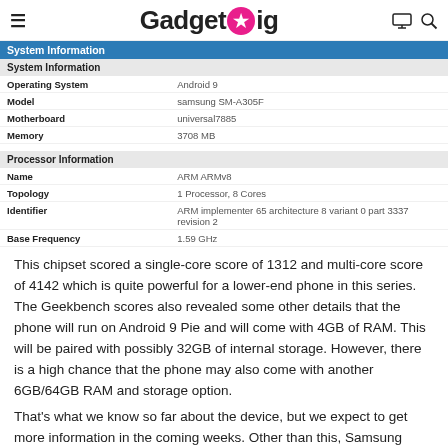GadgetGig
| System Information |  |
| --- | --- |
| System Information |  |
| Operating System | Android 9 |
| Model | samsung SM-A305F |
| Motherboard | universal7885 |
| Memory | 3708 MB |
| Processor Information |  |
| Name | ARM ARMv8 |
| Topology | 1 Processor, 8 Cores |
| Identifier | ARM implementer 65 architecture 8 variant 0 part 3337 revision 2 |
| Base Frequency | 1.59 GHz |
This chipset scored a single-core score of 1312 and multi-core score of 4142 which is quite powerful for a lower-end phone in this series. The Geekbench scores also revealed some other details that the phone will run on Android 9 Pie and will come with 4GB of RAM. This will be paired with possibly 32GB of internal storage. However, there is a high chance that the phone may also come with another 6GB/64GB RAM and storage option.
That's what we know so far about the device, but we expect to get more information in the coming weeks. Other than this, Samsung